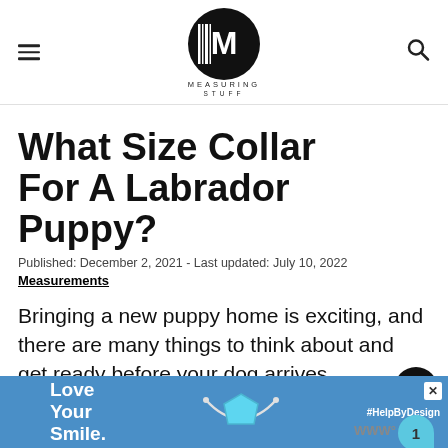MEASURING STUFF
What Size Collar For A Labrador Puppy?
Published: December 2, 2021 - Last updated: July 10, 2022
Measurements
Bringing a new puppy home is exciting, and there are many things to think about and get ready before your dog arrives.
[Figure (screenshot): Advertisement banner with 'Love Your Smile.' text, dental illustration, and #HelpByDesign hashtag]